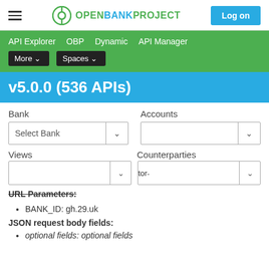OPENBANKPROJECT — Log on
API Explorer  OBP  Dynamic  API Manager  More  Spaces
v5.0.0 (536 APIs)
Bank   Accounts   Select Bank   Views   Counterparties
URL Parameters:
BANK_ID: gh.29.uk
JSON request body fields:
optional fields: optional fields